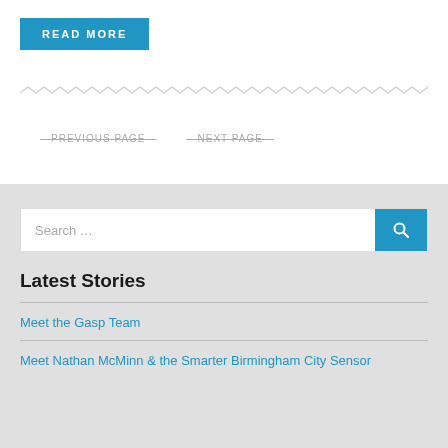READ MORE
—PREVIOUS PAGE—
—NEXT PAGE—
Search …
Latest Stories
Meet the Gasp Team
Meet Nathan McMinn & the Smarter Birmingham City Sensor